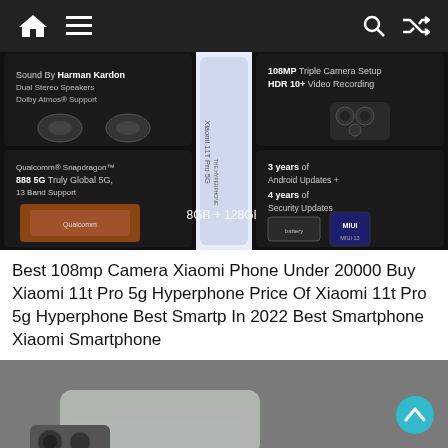Navigation bar with home, menu, search, and shuffle icons
[Figure (photo): Xiaomi 11T Pro 5G product promotional image showing phone features: Sound By Harman Kardon, Dual Stereo Speakers, Dolby Atmos Support; 108MP Triple Camera Setup, HDR 10+ Video Recording; Qualcomm Snapdragon 888 5G Truly Global 5G, 13 Band Support; 8GB + 128GB storage; 3 years of Android Updates, 4 years of Security Updates]
Best 108mp Camera Xiaomi Phone Under 20000 Buy Xiaomi 11t Pro 5g Hyperphone Price Of Xiaomi 11t Pro 5g Hyperphone Best Smartp In 2022 Best Smartphone Xiaomi Smartphone
[Figure (photo): Close-up photo of a smartphone showing its back panel and camera module on a gray surface]